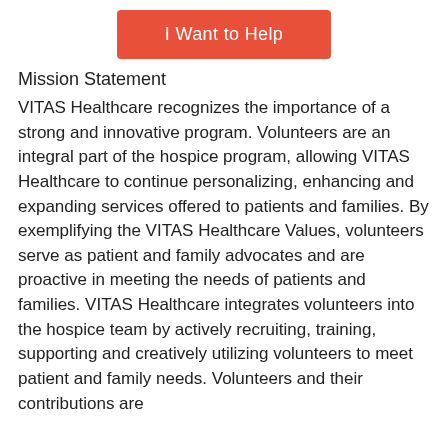[Figure (other): Orange button labeled 'I Want to Help']
Mission Statement
VITAS Healthcare recognizes the importance of a strong and innovative program. Volunteers are an integral part of the hospice program, allowing VITAS Healthcare to continue personalizing, enhancing and expanding services offered to patients and families. By exemplifying the VITAS Healthcare Values, volunteers serve as patient and family advocates and are proactive in meeting the needs of patients and families. VITAS Healthcare integrates volunteers into the hospice team by actively recruiting, training, supporting and creatively utilizing volunteers to meet patient and family needs. Volunteers and their contributions are